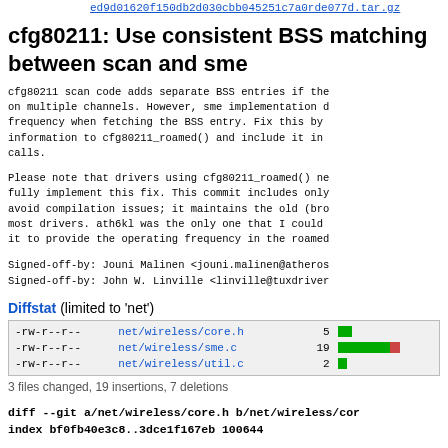ed9d01620f150db2d030cbb045251c7a0rde077d.tar.gz
cfg80211: Use consistent BSS matching between scan and sme
cfg80211 scan code adds separate BSS entries if the on multiple channels. However, sme implementation d frequency when fetching the BSS entry. Fix this by information to cfg80211_roamed() and include it in calls.
Please note that drivers using cfg80211_roamed() ne fully implement this fix. This commit includes only avoid compilation issues; it maintains the old (bro most drivers. ath6kl was the only one that I could it to provide the operating frequency in the roamed
Signed-off-by: Jouni Malinen <jouni.malinen@atheros
Signed-off-by: John W. Linville <linville@tuxdriver
Diffstat (limited to 'net')
| permissions | file | count | bar |
| --- | --- | --- | --- |
| -rw-r--r-- | net/wireless/core.h | 5 | 5 green |
| -rw-r--r-- | net/wireless/sme.c | 19 | 19 green, 1 red |
| -rw-r--r-- | net/wireless/util.c | 2 | 2 green |
3 files changed, 19 insertions, 7 deletions
diff --git a/net/wireless/core.h b/net/wireless/cor
index bf0fb40e3c8..3dce1f167eb 100644